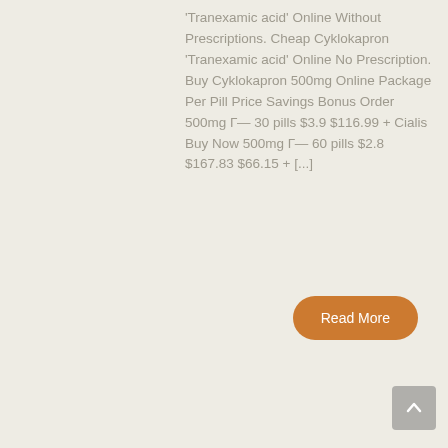'Tranexamic acid' Online Without Prescriptions. Cheap Cyklokapron 'Tranexamic acid' Online No Prescription. Buy Cyklokapron 500mg Online Package Per Pill Price Savings Bonus Order 500mg Г— 30 pills $3.9 $116.99 + Cialis Buy Now 500mg Г— 60 pills $2.8 $167.83 $66.15 + [...]
Read More